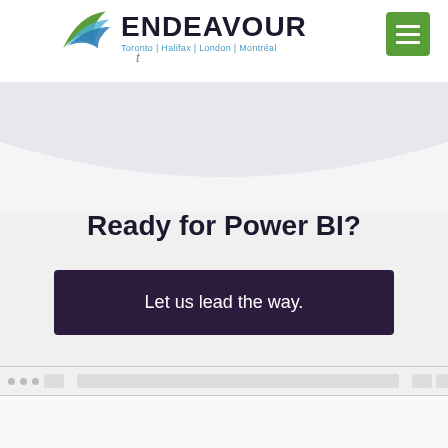[Figure (screenshot): Endeavour consulting company website screenshot showing logo with swoosh graphic, company name ENDEAVOUR, cities Toronto | Halifax | London | Montréal, green hamburger menu button, curved wave section, Ready for Power BI? heading, and dark purple CTA button saying Let us lead the way.]
Ready for Power BI?
Let us lead the way.